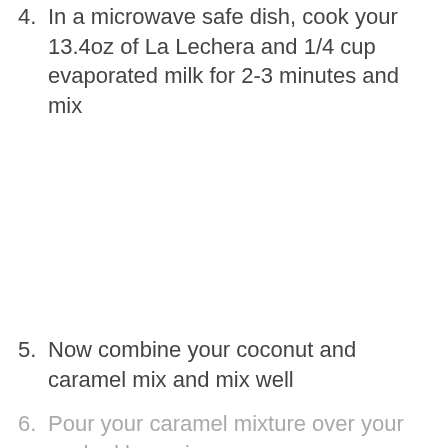4. In a microwave safe dish, cook your 13.4oz of La Lechera and 1/4 cup evaporated milk for 2-3 minutes and mix
5. Now combine your coconut and caramel mix and mix well
6. Pour your caramel mixture over your cooked brownies